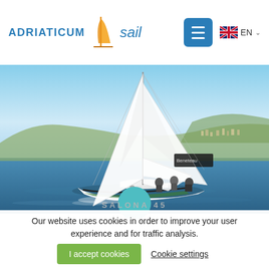ADRIATICUM sail — navigation bar with hamburger menu and EN language selector
[Figure (photo): Sailing yacht (Salona model) with white sails fully deployed, sailing on blue sea with hills/town in background. Several crew members visible on deck. Clear blue sky.]
SALONA 45
Our website uses cookies in order to improve your user experience and for traffic analysis.
I accept cookies   Cookie settings